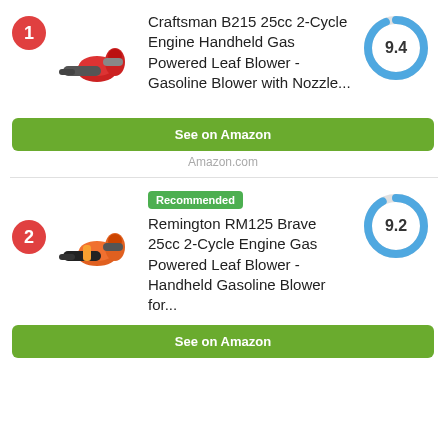1 - Craftsman B215 25cc 2-Cycle Engine Handheld Gas Powered Leaf Blower - Gasoline Blower with Nozzle... Score: 9.4
See on Amazon
Amazon.com
2 - Recommended - Remington RM125 Brave 25cc 2-Cycle Engine Gas Powered Leaf Blower - Handheld Gasoline Blower for... Score: 9.2
See on Amazon